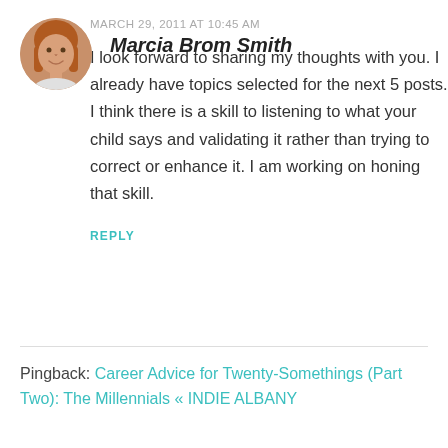Marcia Brom Smith
MARCH 29, 2011 AT 10:45 AM
I look forward to sharing my thoughts with you. I already have topics selected for the next 5 posts. I think there is a skill to listening to what your child says and validating it rather than trying to correct or enhance it. I am working on honing that skill.
REPLY
Pingback: Career Advice for Twenty-Somethings (Part Two): The Millennials « INDIE ALBANY